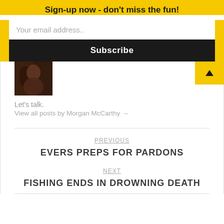Sign-up now - don't miss the fun!
Your email address..
Subscribe
[Figure (photo): Partial view of a person's face/portrait photo in dark tones]
Let's talk.
View all posts by Morgan McCarthy →
PREVIOUS
EVERS PREPS FOR PARDONS
NEXT
FISHING ENDS IN DROWNING DEATH